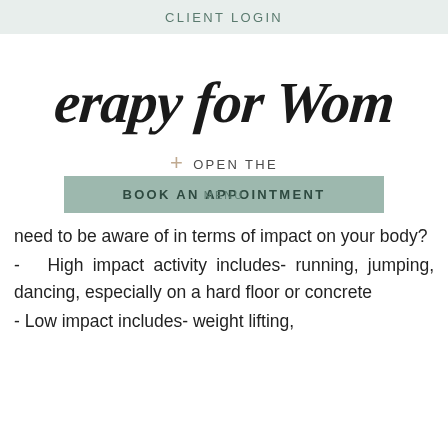CLIENT LOGIN
[Figure (logo): Therapy for Women handwritten script logo in black]
+ OPEN THE MENU
BOOK AN APPOINTMENT
need to be aware of in terms of impact on your body?
- High impact activity includes- running, jumping, dancing, especially on a hard floor or concrete
- Low impact includes- weight lifting,